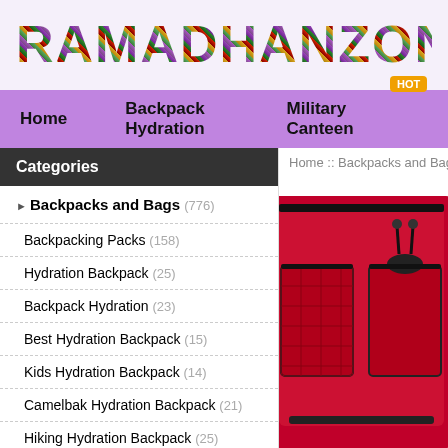[Figure (logo): RamadhanZone logo with colorful patterned text]
Home  Backpack Hydration  Military Canteen
Home :: Backpacks and Bags :: Waist Pack
Categories
Backpacks and Bags (776)
Backpacking Packs (158)
Hydration Backpack (25)
Backpack Hydration (23)
Best Hydration Backpack (15)
Kids Hydration Backpack (14)
Camelbak Hydration Backpack (21)
Hiking Hydration Backpack (25)
[Figure (photo): Red waist pack / fanny pack bag with mesh pockets and black zipper details]